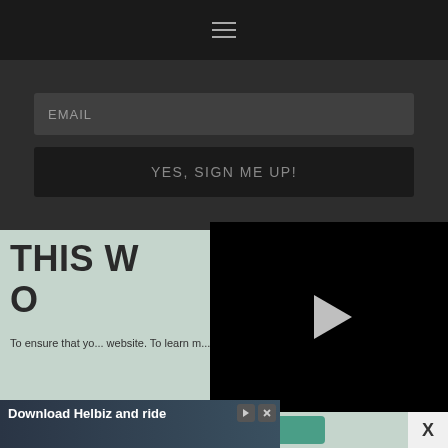Navigation menu (hamburger icon)
EMAIL
YES, SIGN ME UP!
THIS W... O...
To ensure that yo... website. To learn m...
[Figure (screenshot): Black video player with white play button triangle in center]
X
[Figure (screenshot): Advertisement banner: Download Helbiz and ride, with people on scooters/bikes in background]